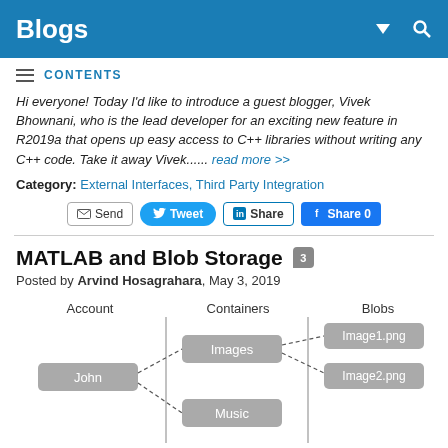Blogs
CONTENTS
Hi everyone! Today I'd like to introduce a guest blogger, Vivek Bhownani, who is the lead developer for an exciting new feature in R2019a that opens up easy access to C++ libraries without writing any C++ code. Take it away Vivek...... read more >>
Category: External Interfaces, Third Party Integration
Send | Tweet | Share | Share 0
MATLAB and Blob Storage
Posted by Arvind Hosagrahara, May 3, 2019
[Figure (infographic): Diagram showing blob storage hierarchy: Account (John) connects to Containers (Images, Music) which connect to Blobs (Image1.png, Image2.png) via dashed lines, with vertical dividing lines between sections.]